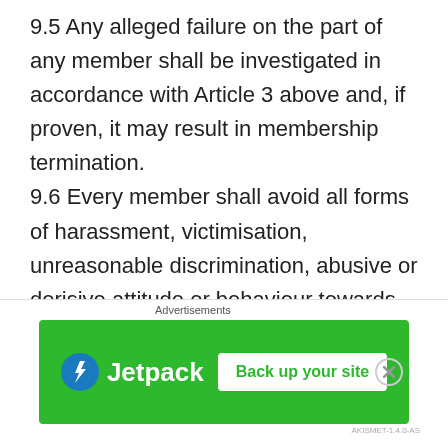9.5 Any alleged failure on the part of any member shall be investigated in accordance with Article 3 above and, if proven, it may result in membership termination. 9.6 Every member shall avoid all forms of harassment, victimisation, unreasonable discrimination, abusive or derisive attitude or behaviour towards other individuals or groups. Each member must behave in a manner that does not discredit the TSC. 9.7 Members will support HHTFC and represent
[Figure (other): Jetpack advertisement banner: green background with Jetpack logo (blue circular lightning bolt icon and 'Jetpack' text in white) and a white 'Back up your site' button. Labeled 'Advertisements' above.]